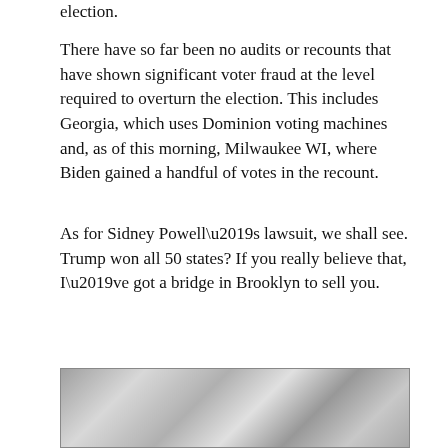election.
There have so far been no audits or recounts that have shown significant voter fraud at the level required to overturn the election. This includes Georgia, which uses Dominion voting machines and, as of this morning, Milwaukee WI, where Biden gained a handful of votes in the recount.
As for Sidney Powell’s lawsuit, we shall see. Trump won all 50 states? If you really believe that, I’ve got a bridge in Brooklyn to sell you.
[Figure (photo): Black and white photograph partially visible at the bottom of the page, showing an outdoor scene.]